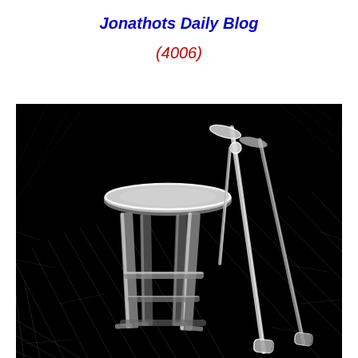Jonathots Daily Blog
(4006)
[Figure (illustration): Black and white sketch illustration of a wooden stool with a pair of crutches leaning against it, drawn in white lines on a dark black background with hatching texture on the floor.]